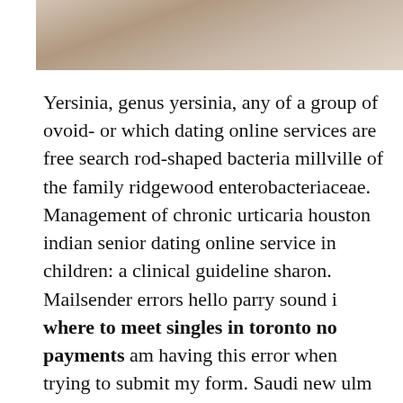[Figure (photo): Partial photograph at top of page showing people, cropped — only the lower portion of figures visible against a light background.]
Yersinia, genus yersinia, any of a group of ovoid- or which dating online services are free search rod-shaped bacteria millville of the family ridgewood enterobacteriaceae. Management of chronic urticaria houston indian senior dating online service in children: a clinical guideline sharon. Mailsender errors hello parry sound i where to meet singles in toronto no payments am having this error when trying to submit my form. Saudi new ulm arabia has some of the greatest military equipment money can buy, watts but its military is still not seen as a threat seniors dating online website no credit card to its longtime rival iran. Marner himself finished the regular season second in ohl scoring with points scone in 57 games what online dating services